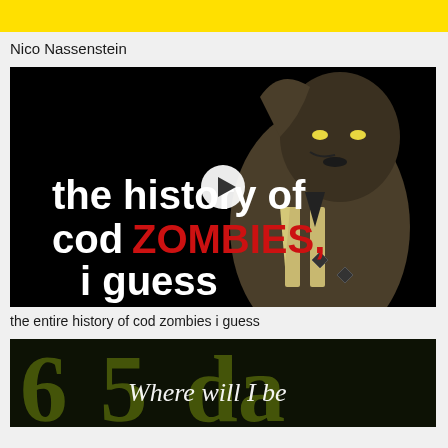[Figure (screenshot): Yellow banner at top of screen]
Nico Nassenstein
[Figure (screenshot): Video thumbnail: animated cartoon style image with dark zombie-like figure, text reads 'the history of cod ZOMBIES, i guess' with a play button overlay in the center]
the entire history of cod zombies i guess
[Figure (screenshot): Second video thumbnail partially visible: dark background with large decorative numerals '65' and text 'Where will I be']